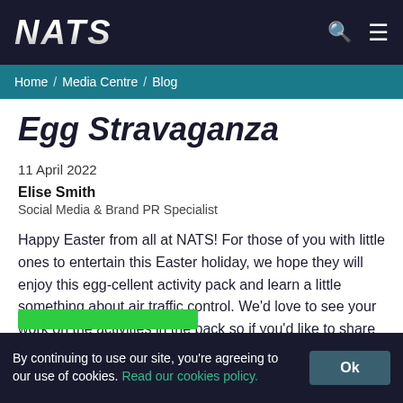[Figure (logo): NATS logo in white italic bold text on dark navy background with search and menu icons]
Home / Media Centre / Blog
Egg Stravaganza
11 April 2022
Elise Smith
Social Media & Brand PR Specialist
Happy Easter from all at NATS! For those of you with little ones to entertain this Easter holiday, we hope they will enjoy this egg-cellent activity pack and learn a little something about air traffic control. We'd love to see your work on the activities in the pack so if you'd like to share it, [...]
By continuing to use our site, you're agreeing to our use of cookies. Read our cookies policy.